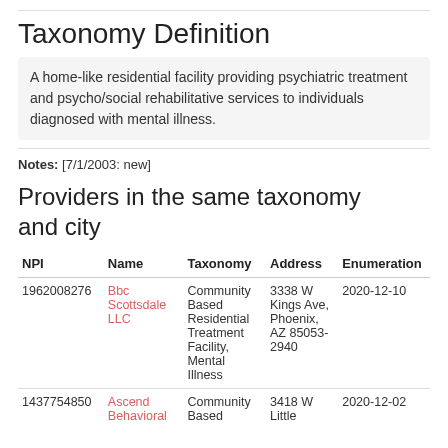Taxonomy Definition
A home-like residential facility providing psychiatric treatment and psycho/social rehabilitative services to individuals diagnosed with mental illness.
Notes: [7/1/2003: new]
Providers in the same taxonomy and city
| NPI | Name | Taxonomy | Address | Enumeration |
| --- | --- | --- | --- | --- |
| 1962008276 | Bbc Scottsdale LLC | Community Based Residential Treatment Facility, Mental Illness | 3338 W Kings Ave, Phoenix, AZ 85053-2940 | 2020-12-10 |
| 1437754850 | Ascend Behavioral | Community Based | 3418 W Little | 2020-12-02 |